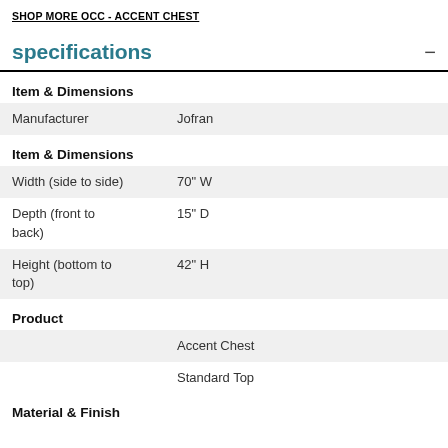SHOP MORE OCC - ACCENT CHEST
specifications
Item & Dimensions
| Property | Value |
| --- | --- |
| Manufacturer | Jofran |
Item & Dimensions
| Property | Value |
| --- | --- |
| Width (side to side) | 70" W |
| Depth (front to back) | 15" D |
| Height (bottom to top) | 42" H |
Product
| Property | Value |
| --- | --- |
|  | Accent Chest |
|  | Standard Top |
Material & Finish